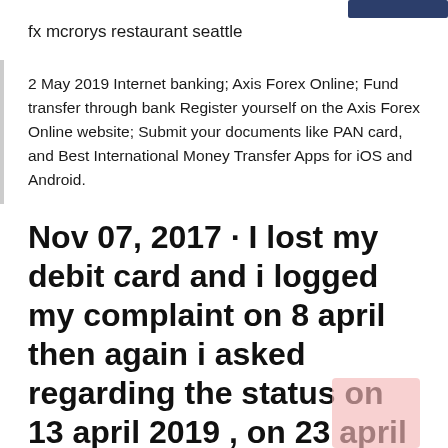fx mcrorys restaurant seattle
2 May 2019 Internet banking; Axis Forex Online; Fund transfer through bank Register yourself on the Axis Forex Online website; Submit your documents like PAN card, and Best International Money Transfer Apps for iOS and Android.
Nov 07, 2017 · I lost my debit card and i logged my complaint on 8 april then again i asked regarding the status on 13 april 2019 , on 23 april i again called to confirm regarding status of my debit card as per the axis bank due to technical glitch they could not issue me the debit card and again they